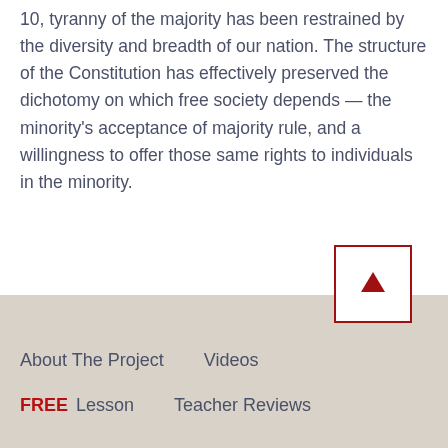10, tyranny of the majority has been restrained by the diversity and breadth of our nation. The structure of the Constitution has effectively preserved the dichotomy on which free society depends — the minority's acceptance of majority rule, and a willingness to offer those same rights to individuals in the minority.
[Figure (other): Scroll-to-top button with upward-pointing red arrow inside a white box with red border]
About The Project   Videos   FREE Lesson   Teacher Reviews